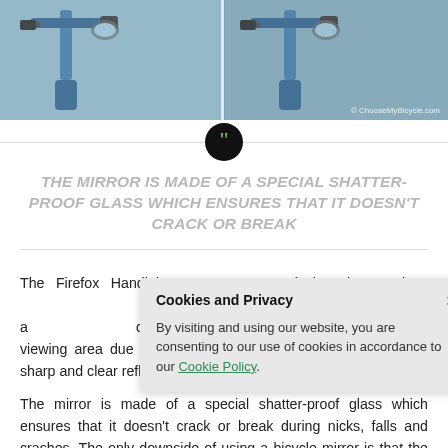[Figure (photo): Two side-by-side photos of bicycle handlebars. Left photo shows a blue bicycle handlebar with mirror attached. Right photo shows a similar view from slightly different angle. Watermark reads '© ChooseMyBicycle.com']
THE MIRROR IS MADE OF A SPECIAL SHATTER-PROOF GLASS WHICH ENSURES THAT IT DOESN'T CRACK OR BREAK
The Firefox Handlebar [mirror has a] design that enables [adjustment of the] handlebar and als[o ensures] that the rider is a[ble to adjust as] desired. The enh[anced mirror provides wider] viewing area due to its angle of curvature and gives a crisp, sharp and clear reflection of the vehicles behind.
The mirror is made of a special shatter-proof glass which ensures that it doesn't crack or break during nicks, falls and crashes. The only downside of using a bicycle mirror is that the rider might be tempted to keep looking into